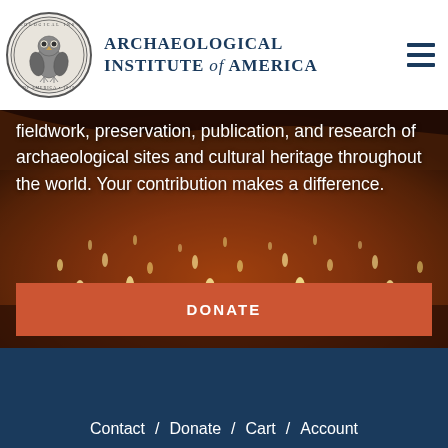Archaeological Institute of America
[Figure (screenshot): Hero image of an archaeological cave site with illuminated standing stones/markers. Overlaid text reads: 'fieldwork, preservation, publication, and research of archaeological sites and cultural heritage throughout the world. Your contribution makes a difference.' with a DONATE button below.]
fieldwork, preservation, publication, and research of archaeological sites and cultural heritage throughout the world. Your contribution makes a difference.
DONATE
Contact / Donate / Cart / Account